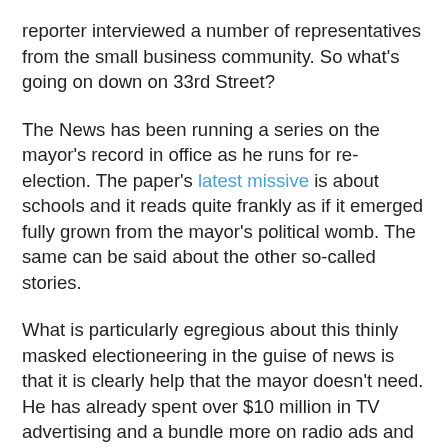reporter interviewed a number of representatives from the small business community. So what's going on down on 33rd Street?
The News has been running a series on the mayor's record in office as he runs for re-election. The paper's latest missive is about schools and it reads quite frankly as if it emerged fully grown from the mayor's political womb. The same can be said about the other so-called stories.
What is particularly egregious about this thinly masked electioneering in the guise of news is that it is clearly help that the mayor doesn't need. He has already spent over $10 million in TV advertising and a bundle more on radio ads and glossy targeted mailings. All of this free spending is reflected in the mayor's poll standings which show that the mayor would probably win a Democratic primary without a run-off.
All of which should give the editors at the News a desire for a greater degree of fairness not less. The economy is, in fact, a major weakness in the record of the Bloomberg administration. If the comments we made to their reporter